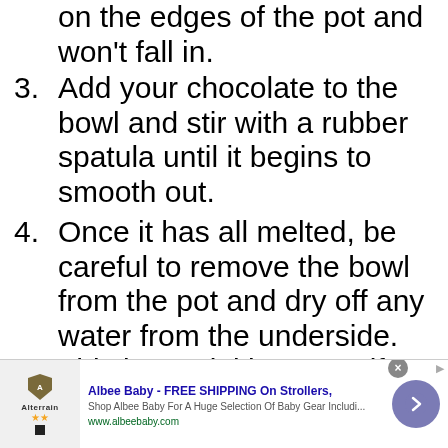on the edges of the pot and won't fall in.
3. Add your chocolate to the bowl and stir with a rubber spatula until it begins to smooth out.
4. Once it has all melted, be careful to remove the bowl from the pot and dry off any water from the underside. This is crucial because if any
Albee Baby - FREE SHIPPING On Strollers, Shop Albee Baby For A Huge Selection Of Baby Gear Includi... www.albeebaby.com